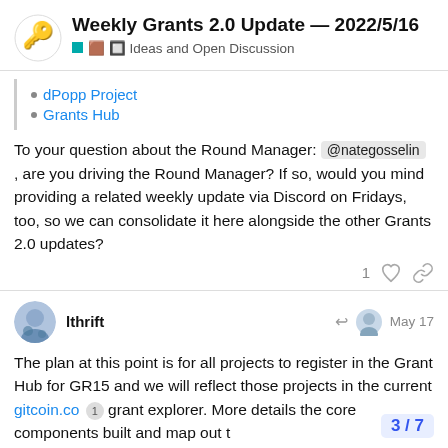Weekly Grants 2.0 Update — 2022/5/16
🟩 🟫🔲 Ideas and Open Discussion
dPopp Project
Grants Hub
To your question about the Round Manager: @nategosselin , are you driving the Round Manager? If so, would you mind providing a related weekly update via Discord on Fridays, too, so we can consolidate it here alongside the other Grants 2.0 updates?
1 [like] [link]
lthrift — May 17
The plan at this point is for all projects to register in the Grant Hub for GR15 and we will reflect those projects in the current gitcoin.co 1 grant explorer. More details the core components built and map out t
3 / 7